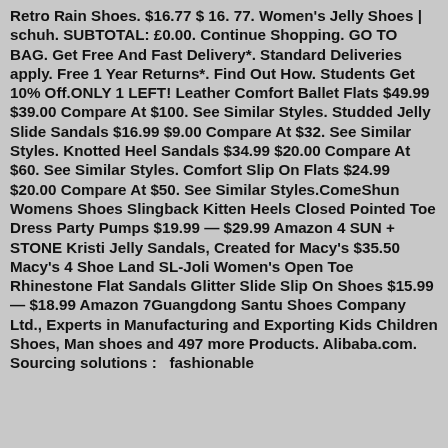Retro Rain Shoes. $16.77 $ 16. 77. Women's Jelly Shoes | schuh. SUBTOTAL: £0.00. Continue Shopping. GO TO BAG. Get Free And Fast Delivery*. Standard Deliveries apply. Free 1 Year Returns*. Find Out How. Students Get 10% Off.ONLY 1 LEFT! Leather Comfort Ballet Flats $49.99 $39.00 Compare At $100. See Similar Styles. Studded Jelly Slide Sandals $16.99 $9.00 Compare At $32. See Similar Styles. Knotted Heel Sandals $34.99 $20.00 Compare At $60. See Similar Styles. Comfort Slip On Flats $24.99 $20.00 Compare At $50. See Similar Styles.ComeShun Womens Shoes Slingback Kitten Heels Closed Pointed Toe Dress Party Pumps $19.99 — $29.99 Amazon 4 SUN + STONE Kristi Jelly Sandals, Created for Macy's $35.50 Macy's 4 Shoe Land SL-Joli Women's Open Toe Rhinestone Flat Sandals Glitter Slide Slip On Shoes $15.99 — $18.99 Amazon 7Guangdong Santu Shoes Company Ltd., Experts in Manufacturing and Exporting Kids Children Shoes, Man shoes and 497 more Products. Alibaba.com. Sourcing solutions : fashionable